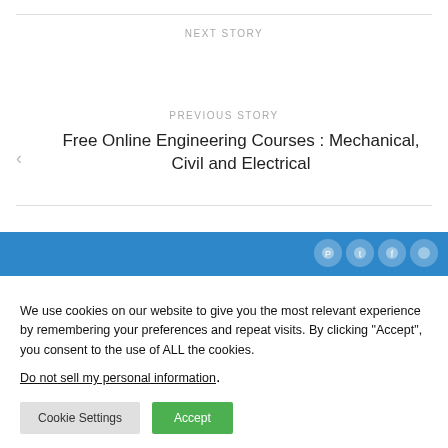NEXT STORY
PREVIOUS STORY
Free Online Engineering Courses : Mechanical, Civil and Electrical
[Figure (other): Blue horizontal bar with social media icons (pin, twitter, facebook, circle) on the right side]
We use cookies on our website to give you the most relevant experience by remembering your preferences and repeat visits. By clicking “Accept”, you consent to the use of ALL the cookies.
Do not sell my personal information.
Cookie Settings
Accept